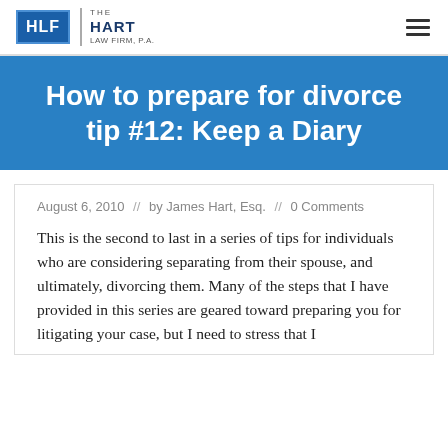HLF | THE HART LAW FIRM, P.A.
How to prepare for divorce tip #12: Keep a Diary
August 6, 2010  //  by James Hart, Esq.  //  0 Comments
This is the second to last in a series of tips for individuals who are considering separating from their spouse, and ultimately, divorcing them. Many of the steps that I have provided in this series are geared toward preparing you for litigating your case, but I need to stress that I